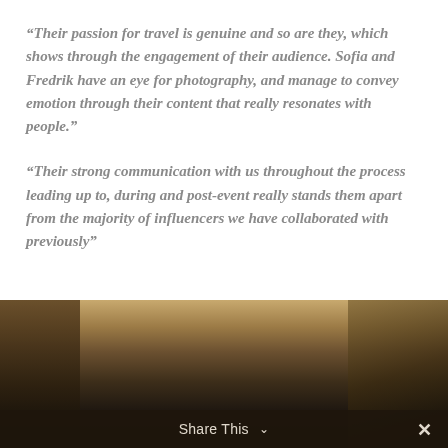“Their passion for travel is genuine and so are they, which shows through the engagement of their audience. Sofia and Fredrik have an eye for photography, and manage to convey emotion through their content that really resonates with people.”
“Their strong communication with us throughout the process leading up to, during and post-event really stands them apart from the majority of influencers we have collaborated with previously”
[Figure (photo): Partial view of an interior room or furniture, dimly lit with warm golden-brown tones, showing what appears to be a ceiling or countertop edge.]
Share This ∨  ×